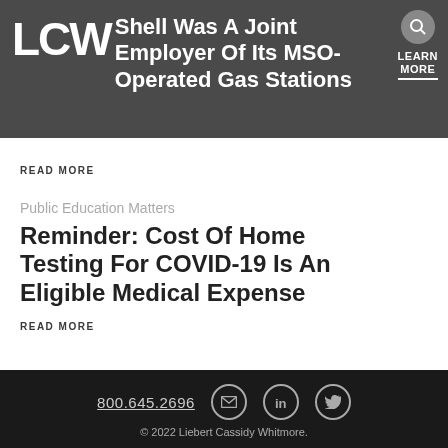LCW — Shell Was A Joint Employer Of Its MSO-Operated Gas Stations
READ MORE
Public Education Matters
Reminder: Cost Of Home Testing For COVID-19 Is An Eligible Medical Expense
READ MORE
800.645.2696 © 2022 Liebert Cassidy Whitmore.